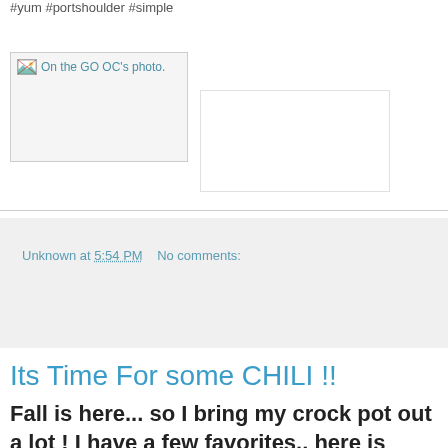#yum #portshoulder #simple
[Figure (photo): Broken image placeholder labeled 'On the GO OC's photo.']
Unknown at 5:54 PM   No comments:
Share
Its Time For some CHILI !!
Fall is here... so I bring my crock pot out a lot ! I have a few favorites.. here is